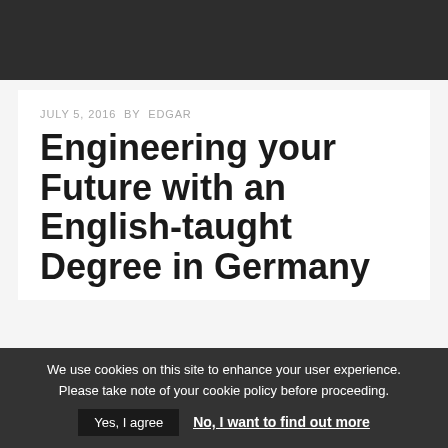JULY 5, 2016  BY  EDGAR
Engineering your Future with an English-taught Degree in Germany
[Figure (photo): Close-up photo of water droplets on a metallic or solar panel grid surface with diagonal lines]
We use cookies on this site to enhance your user experience. Please take note of your cookie policy before proceeding.
Yes, I agree   No, I want to find out more